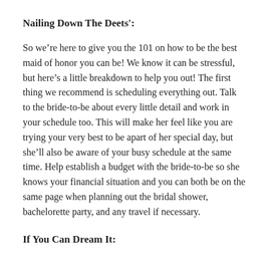Nailing Down The Deets':
So we’re here to give you the 101 on how to be the best maid of honor you can be! We know it can be stressful, but here’s a little breakdown to help you out! The first thing we recommend is scheduling everything out. Talk to the bride-to-be about every little detail and work in your schedule too. This will make her feel like you are trying your very best to be apart of her special day, but she’ll also be aware of your busy schedule at the same time. Help establish a budget with the bride-to-be so she knows your financial situation and you can both be on the same page when planning out the bridal shower, bachelorette party, and any travel if necessary.
If You Can Dream It: